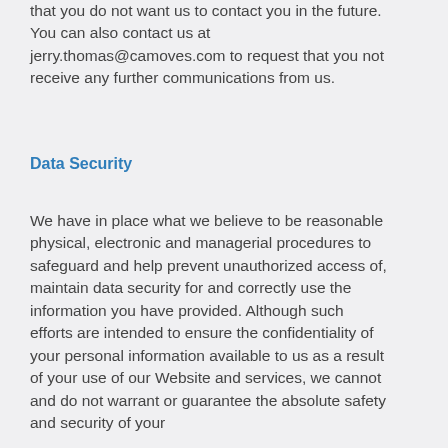that you do not want us to contact you in the future. You can also contact us at jerry.thomas@camoves.com to request that you not receive any further communications from us.
Data Security
We have in place what we believe to be reasonable physical, electronic and managerial procedures to safeguard and help prevent unauthorized access of, maintain data security for and correctly use the information you have provided. Although such efforts are intended to ensure the confidentiality of your personal information available to us as a result of your use of our Website and services, we cannot and do not warrant or guarantee the absolute safety and security of your